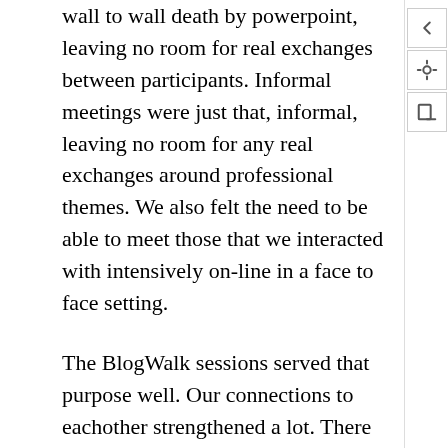wall to wall death by powerpoint, leaving no room for real exchanges between participants. Informal meetings were just that, informal, leaving no room for any real exchanges around professional themes. We also felt the need to be able to meet those that we interacted with intensively on-line in a face to face setting.
The BlogWalk sessions served that purpose well. Our connections to eachother strengthened a lot. There are many BlogWalk participants I am in regular contact with, and there are a good number of them that I regard as colleagues and close professional peers.
The need we felt in 2004 however has been addressed, and the environment nowadays is different from back then. It seems that creating your own event, your own un-conference, has become more normal,